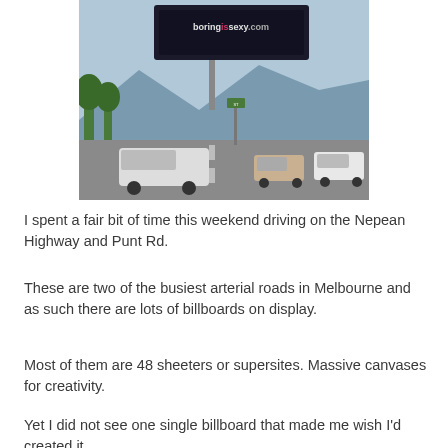[Figure (photo): Street scene showing a large billboard reading 'boringissexy.com' on a busy arterial road with traffic and mountains in the background.]
I spent a fair bit of time this weekend driving on the Nepean Highway and Punt Rd.
These are two of the busiest arterial roads in Melbourne and as such there are lots of billboards on display.
Most of them are 48 sheeters or supersites. Massive canvases for creativity.
Yet I did not see one single billboard that made me wish I'd created it.
Not one.
This is an appalling situation I think. But who is to blame?